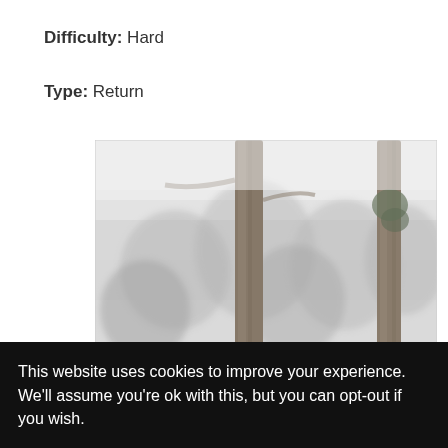Difficulty: Hard
Type: Return
[Figure (photo): A misty forest scene with tall bare tree trunks and foggy atmosphere, viewed from below looking upward.]
This website uses cookies to improve your experience. We'll assume you're ok with this, but you can opt-out if you wish.